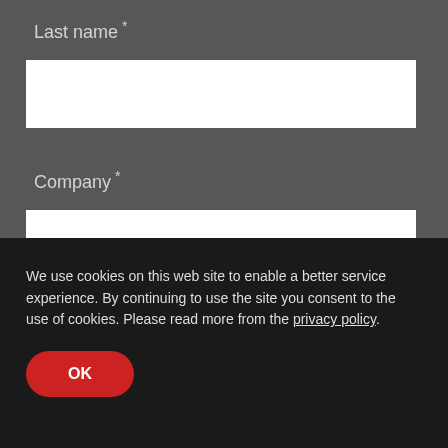Last name *
[Figure (other): Empty text input field for Last name]
Company *
[Figure (other): Empty text input field for Company]
Country *
[Figure (other): Dropdown select field showing United States]
State / Province
We use cookies on this web site to enable a better service experience. By continuing to use the site you consent to the use of cookies. Please read more from the privacy policy.
OK